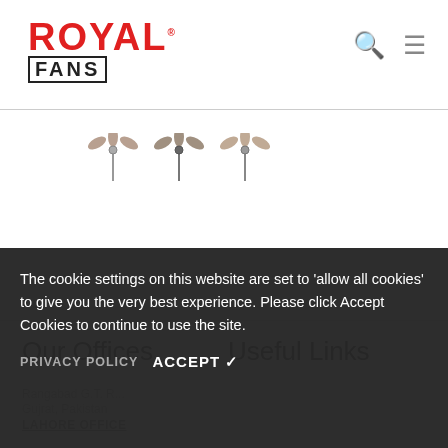[Figure (logo): Royal Fans logo - ROYAL in red bold text, FANS in black bold text with border]
[Figure (illustration): Three small ceiling fan thumbnail images in a row]
Our Offices
Useful Links
Rangabad G.T. R...
Gujrat, Pakistan
LAHORE OFFICE
The cookie settings on this website are set to 'allow all cookies' to give you the very best experience. Please click Accept Cookies to continue to use the site.
PRIVACY POLICY   ACCEPT ✓